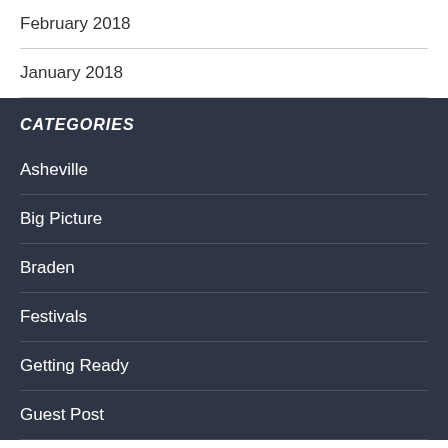February 2018
January 2018
CATEGORIES
Asheville
Big Picture
Braden
Festivals
Getting Ready
Guest Post